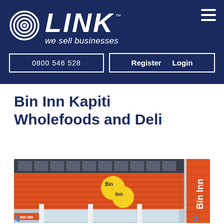LINK™ — we sell businesses | 0800 546 528 | Register | Login
Bin Inn Kapiti Wholefoods and Deli
[Figure (photo): Exterior photograph of a Bin Inn store with orange cladding, yellow circular Bin Inn logo on the facade, large glass shopfront windows, white pillars, and an orange Bin Inn banner flag on the right side.]